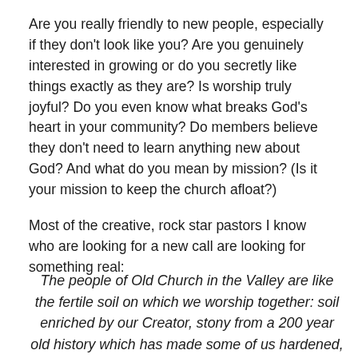Are you really friendly to new people, especially if they don't look like you? Are you genuinely interested in growing or do you secretly like things exactly as they are? Is worship truly joyful?  Do you even know what breaks God's heart in your community? Do members believe they don't need to learn anything new about God?  And what do you mean by mission?  (Is it your mission to keep the church afloat?)
Most of the creative, rock star pastors I know who are looking for a new call are looking for something real:
The people of Old Church in the Valley are like the fertile soil on which we worship together: soil enriched by our Creator, stony from a 200 year old history which has made some of us hardened, uncultivated in terms of our understanding of being partners in mission, but also t…